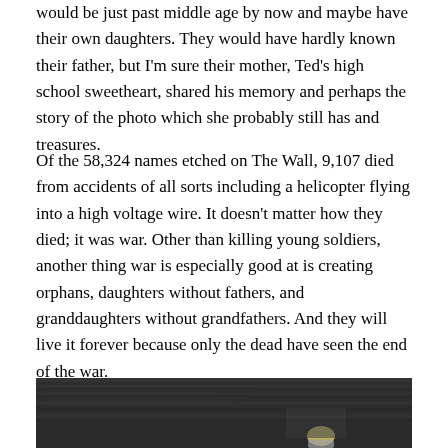would be just past middle age by now and maybe have their own daughters. They would have hardly known their father, but I'm sure their mother, Ted's high school sweetheart, shared his memory and perhaps the story of the photo which she probably still has and treasures.
Of the 58,324 names etched on The Wall, 9,107 died from accidents of all sorts including a helicopter flying into a high voltage wire. It doesn't matter how they died; it was war. Other than killing young soldiers, another thing war is especially good at is creating orphans, daughters without fathers, and granddaughters without grandfathers. And they will live it forever because only the dead have seen the end of the war.
[Figure (photo): A black and white photograph showing people near The Vietnam Veterans Memorial Wall, partially visible at the bottom of the page.]